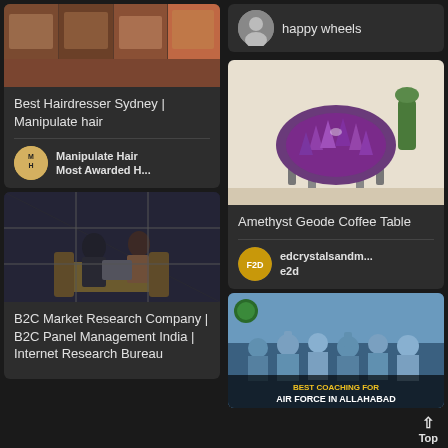[Figure (screenshot): Pinterest-style grid layout showing content cards in two columns]
Best Hairdresser Sydney | Manipulate hair
Manipulate Hair Most Awarded H...
[Figure (photo): Two people working at a laptop in a modern office lounge]
B2C Market Research Company | B2C Panel Management India | Internet Research Bureau
happy wheels
[Figure (photo): Amethyst geode coffee table on a patterned rug]
Amethyst Geode Coffee Table
edcrystalsandm... e2d
[Figure (photo): Air Force personnel celebrating. Text overlay: BEST COACHING FOR AIR FORCE IN ALLAHABAD]